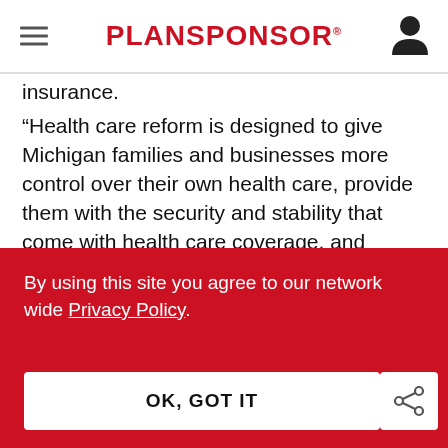PLANSPONSOR
insurance.
“Health care reform is designed to give Michigan families and businesses more control over their own health care, provide them with the security and stability that come with health care coverage, and reduce overall health care costs,” Granholm said in the press release. “After
By using this site you agree to our network wide Privacy Policy.
OK, GOT IT